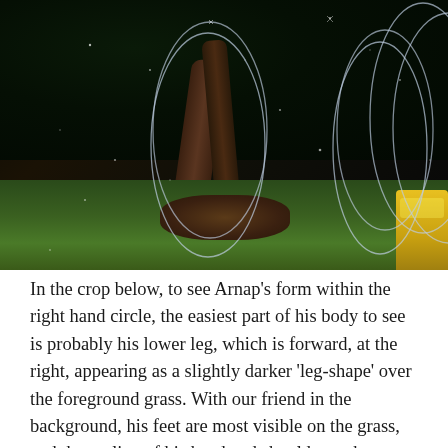[Figure (photo): A dark night-time photograph of a grassy area with trees in the background. Four elliptical/oval outlines are drawn over the image to highlight specific areas of interest, arranged from left to right. A yellow object is partially visible in the lower right corner. The image appears to be taken with a trail camera or similar device.]
In the crop below, to see Arnap's form within the right hand circle, the easiest part of his body to see is probably his lower leg, which is forward, at the right, appearing as a slightly darker 'leg-shape' over the foreground grass. With our friend in the background, his feet are most visible on the grass, and the outline of his head and shoulder at the